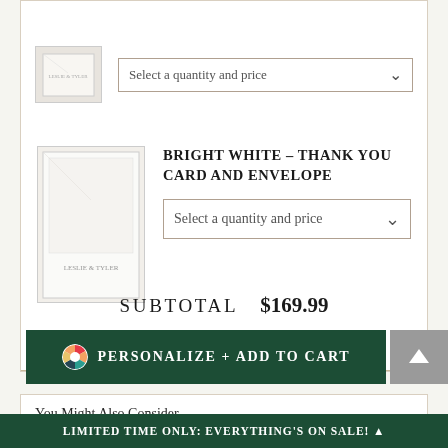[Figure (photo): Top section showing partial product card with image thumbnail and dropdown selector]
BRIGHT WHITE - THANK YOU CARD AND ENVELOPE
Select a quantity and price
SUBTOTAL    $169.99
PERSONALIZE + ADD TO CART
You Might Also Consider
LIMITED TIME ONLY: EVERYTHING'S ON SALE!